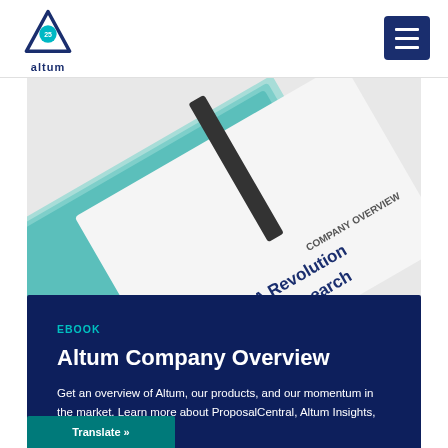[Figure (logo): Altum logo — triangular icon with '25' badge and 'altum' wordmark below]
[Figure (photo): Photo of stacked printed booklets/reports with teal circle design and text 'COMPANY OVERVIEW - A Revolution in Research']
EBOOK
Altum Company Overview
Get an overview of Altum, our products, and our momentum in the market. Learn more about ProposalCentral, Altum Insights, and Analytics.
DOWNLOAD
Translate »